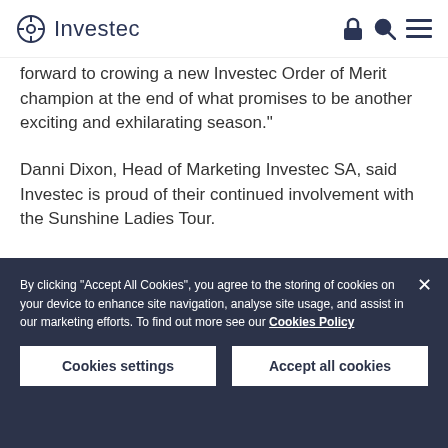Investec
forward to crowing a new Investec Order of Merit champion at the end of what promises to be another exciting and exhilarating season."
Danni Dixon, Head of Marketing Investec SA, said Investec is proud of their continued involvement with the Sunshine Ladies Tour.
By clicking “Accept All Cookies”, you agree to the storing of cookies on your device to enhance site navigation, analyse site usage, and assist in our marketing efforts. To find out more see our Cookies Policy
Cookies settings
Accept all cookies